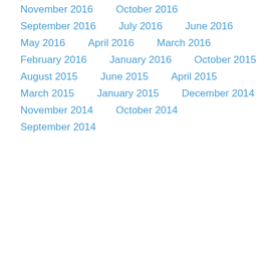November 2016
October 2016
September 2016
July 2016
June 2016
May 2016
April 2016
March 2016
February 2016
January 2016
October 2015
August 2015
June 2015
April 2015
March 2015
January 2015
December 2014
November 2014
October 2014
September 2014